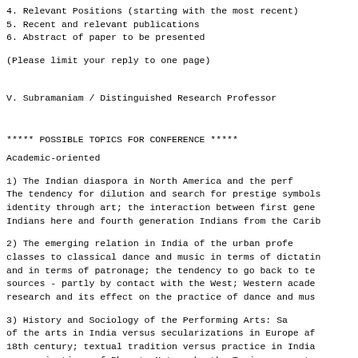4. Relevant Positions (starting with the most recent)
5. Recent and relevant publications
6. Abstract of paper to be presented
(Please limit your reply to one page)
V. Subramaniam / Distinguished Research Professor
***** POSSIBLE TOPICS FOR CONFERENCE *****
Academic-oriented
1)      The Indian diaspora in North America and the perf The tendency for dilution and search for prestige symbols identity through art; the interaction between first gene Indians here and fourth generation Indians from the Carib
2)      The emerging relation in India of the urban profe classes to classical dance and music in terms of dictatin and in terms of patronage; the tendency to go back to te sources - partly by contact with the West; Western acade research and its effect on the practice of dance and mus
3)      History and Sociology of the Performing Arts: Sa of the arts in India versus secularizations in Europe af 18th century; textual tradition versus practice in India reorganizations of Bharata Natyam by the Tanjavur quarte 18th...